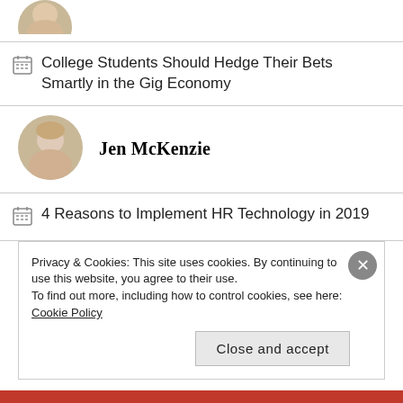[Figure (photo): Partial avatar image at top, cropped circle showing a person's head/shoulders]
College Students Should Hedge Their Bets Smartly in the Gig Economy
[Figure (photo): Circular avatar photo of Jen McKenzie, a woman with light hair]
Jen McKenzie
4 Reasons to Implement HR Technology in 2019
[Figure (photo): Circular avatar photo of Jessie Davies, a woman with reddish hair and glasses]
Jessie Davies
Privacy & Cookies: This site uses cookies. By continuing to use this website, you agree to their use.
To find out more, including how to control cookies, see here: Cookie Policy
Close and accept